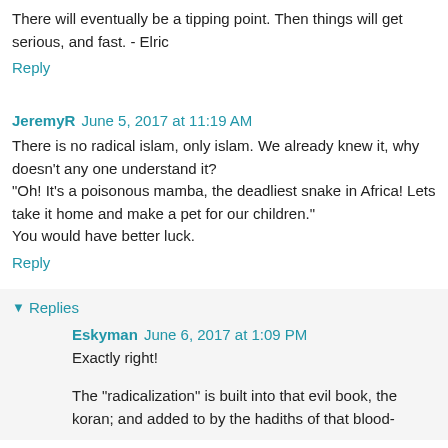There will eventually be a tipping point. Then things will get serious, and fast. - Elric
Reply
JeremyR   June 5, 2017 at 11:19 AM
There is no radical islam, only islam. We already knew it, why doesn't any one understand it?
"Oh! It's a poisonous mamba, the deadliest snake in Africa! Lets take it home and make a pet for our children."
You would have better luck.
Reply
Replies
Eskyman   June 6, 2017 at 1:09 PM
Exactly right!
The "radicalization" is built into that evil book, the koran; and added to by the hadiths of that blood-